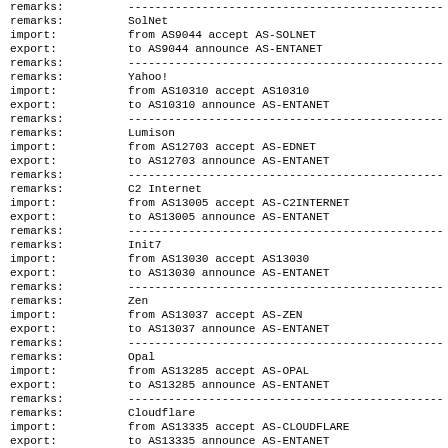remarks: -----------------------------------------------
remarks: SolNet
import: from AS9044 accept AS-SOLNET
export: to AS9044 announce AS-ENTANET
remarks: -----------------------------------------------
remarks: Yahoo!
import: from AS10310 accept AS10310
export: to AS10310 announce AS-ENTANET
remarks: -----------------------------------------------
remarks: Lumison
import: from AS12703 accept AS-EDNET
export: to AS12703 announce AS-ENTANET
remarks: -----------------------------------------------
remarks: C2 Internet
import: from AS13005 accept AS-C2INTERNET
export: to AS13005 announce AS-ENTANET
remarks: -----------------------------------------------
remarks: Init7
import: from AS13030 accept AS13030
export: to AS13030 announce AS-ENTANET
remarks: -----------------------------------------------
remarks: Zen
import: from AS13037 accept AS-ZEN
export: to AS13037 announce AS-ENTANET
remarks: -----------------------------------------------
remarks: Opal
import: from AS13285 accept AS-OPAL
export: to AS13285 announce AS-ENTANET
remarks: -----------------------------------------------
remarks: Cloudflare
import: from AS13335 accept AS-CLOUDFLARE
export: to AS13335 announce AS-ENTANET
remarks: -----------------------------------------------
remarks: Salesforce
import: from AS14340 accept AS-SALESFORCE
export: to AS14340 announce AS-ENTANET
remarks: -----------------------------------------------
remarks: Google